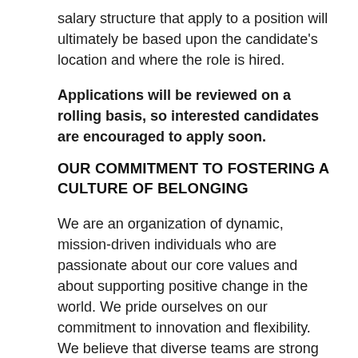salary structure that apply to a position will ultimately be based upon the candidate's location and where the role is hired.
Applications will be reviewed on a rolling basis, so interested candidates are encouraged to apply soon.
OUR COMMITMENT TO FOSTERING A CULTURE OF BELONGING
We are an organization of dynamic, mission-driven individuals who are passionate about our core values and about supporting positive change in the world. We pride ourselves on our commitment to innovation and flexibility. We believe that diverse teams are strong teams and work to support on